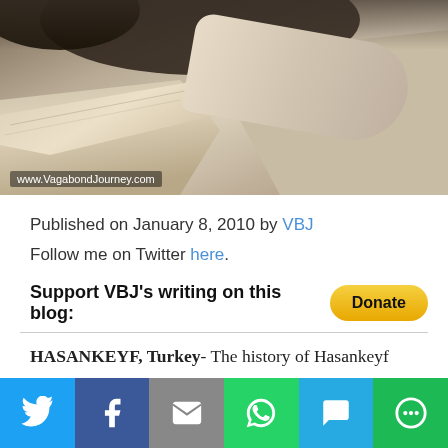[Figure (photo): Close-up photograph of ancient stone ruins or carved rock surfaces, showing textured limestone or sandstone. Watermark reads: www.VagabondJourney.com]
Published on January 8, 2010 by VBJ
Follow me on Twitter here.
Support VBJ’s writing on this blog: [Donate button]
HASANKEYF, Turkey- The history of Hasankeyf goes back 12,000 years. This is over two times longer
[Figure (infographic): Social media sharing bar with icons for Twitter, Facebook, Email, WhatsApp, SMS, and More options]